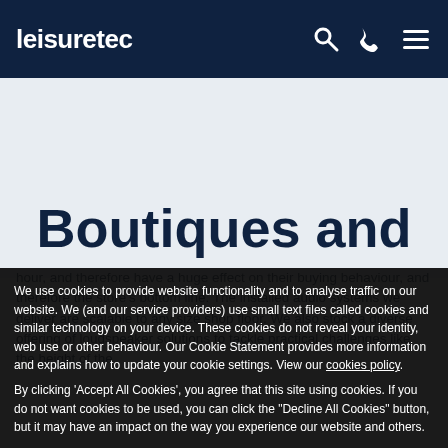leisuretec
Boutiques and
We use cookies to provide website functionality and to analyse traffic on our website. We (and our service providers) use small text files called cookies and similar technology on your device. These cookies do not reveal your identity, web use or other behaviour. Our Cookie Statement provides more information and explains how to update your cookie settings. View our cookies policy.
By clicking 'Accept All Cookies', you agree that this site using cookies. If you do not want cookies to be used, you can click the "Decline All Cookies" button, but it may have an impact on the way you experience our website and others.
Accept All Cookies
Decline All Cookies
hour, and therefore have a huge effect on their buying behaviour, and therefore the store's bottom line. The installed audio systems we deliver are scalable to any size shop floor. We also stock a diverse offering of loudspeaker solutions to tackle practical challenges like the height of the